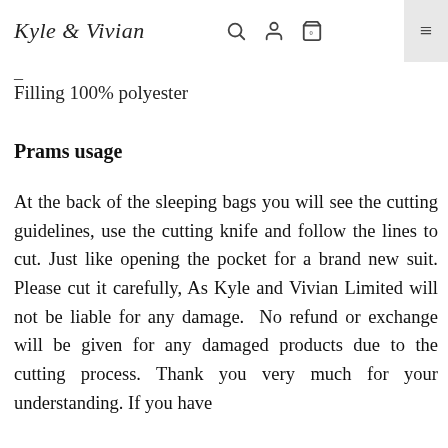Kyle & Vivian
–
Filling 100% polyester
Prams usage
At the back of the sleeping bags you will see the cutting guidelines, use the cutting knife and follow the lines to cut. Just like opening the pocket for a brand new suit. Please cut it carefully, As Kyle and Vivian Limited will not be liable for any damage.  No refund or exchange will be given for any damaged products due to the cutting process. Thank you very much for your understanding. If you have